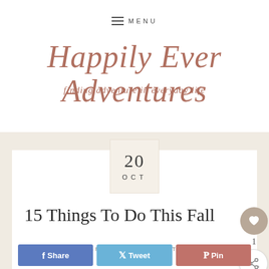MENU
Happily Ever Adventures
finding adventure in everyday life
20 OCT
15 Things To Do This Fall
FUN & CELEBRATIONS · LIFESTYLE
Share  Tweet  Pin